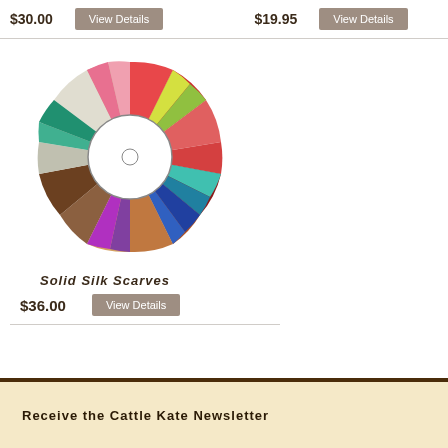$30.00
View Details
$19.95
View Details
[Figure (illustration): A circular color wheel fanned out from the center showing many fabric swatches in various colors (red, pink, yellow, green, blue, purple, brown, white, etc.) arranged in a ring with a white hub and spoke design in the center.]
Solid Silk Scarves
$36.00
View Details
Receive the Cattle Kate Newsletter